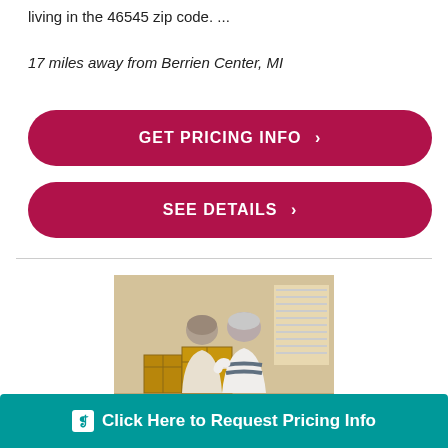living in the 46545 zip code. ...
17 miles away from Berrien Center, MI
GET PRICING INFO ❯
SEE DETAILS ❯
[Figure (photo): Two elderly people seen from behind, with arms around each other, looking into a room with moving boxes]
Click Here to Request Pricing Info